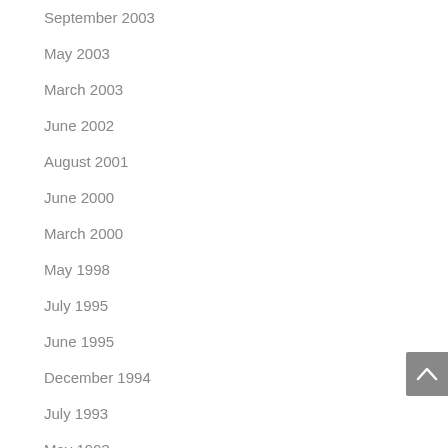September 2003
May 2003
March 2003
June 2002
August 2001
June 2000
March 2000
May 1998
July 1995
June 1995
December 1994
July 1993
May 1993